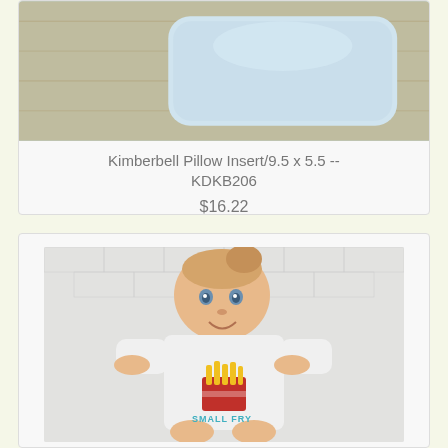[Figure (photo): Photo of a light blue pillow insert on a wooden surface]
Kimberbell Pillow Insert/9.5 x 5.5 -- KDKB206
$16.22
[Figure (photo): Photo of a baby wearing a white onesie with a french fries embroidery and text 'SMALL FRY']